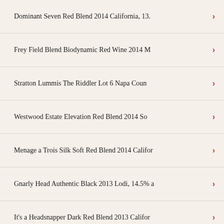Dominant Seven Red Blend 2014 California, 13.
Frey Field Blend Biodynamic Red Wine 2014 M
Stratton Lummis The Riddler Lot 6 Napa Coun
Westwood Estate Elevation Red Blend 2014 So
Menage a Trois Silk Soft Red Blend 2014 Califor
Gnarly Head Authentic Black 2013 Lodi, 14.5% a
It's a Headsnapper Dark Red Blend 2013 Califor
Rare Black Blend 2012 California, 13.5% abv MORE
Montevina Cracked Earth Red Wine Blend 2014